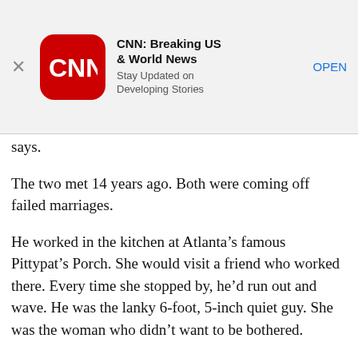[Figure (screenshot): CNN app advertisement banner with CNN logo (red rounded square), app name 'CNN: Breaking US & World News', tagline 'Stay Updated on Developing Stories', and an OPEN button. An X close button is on the left.]
says.
The two met 14 years ago. Both were coming off failed marriages.
He worked in the kitchen at Atlanta’s famous Pittypat’s Porch. She would visit a friend who worked there. Every time she stopped by, he’d run out and wave. He was the lanky 6-foot, 5-inch quiet guy. She was the woman who didn’t want to be bothered.
“I don’t know why he keeps doing that,” Andono would tell her friend.
“I was fresh out of a relationship with my kids’ dad…